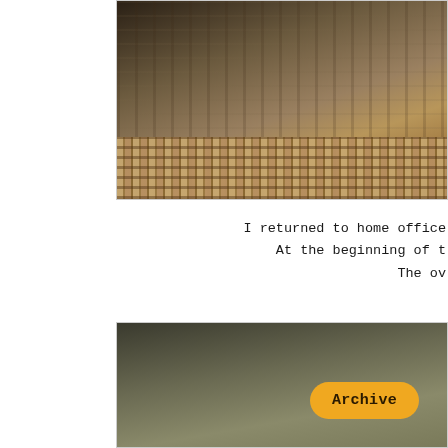[Figure (photo): Close-up photo of wooden slat surface with wicker/rattan woven band at the bottom, cropped from the top — appears to be outdoor patio furniture]
I returned to home office
At the beginning of t
The ov
[Figure (photo): Dark olive/grey gradient background image with an orange rounded 'Archive' button overlaid in the lower right area]